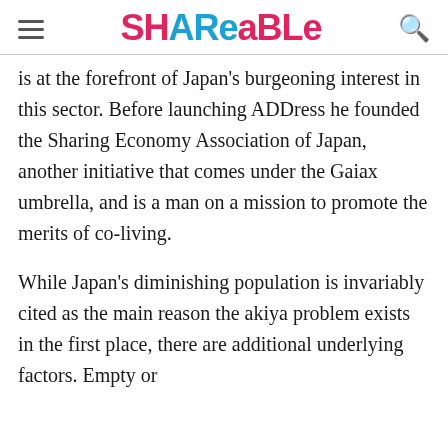SHAREABLE
is at the forefront of Japan's burgeoning interest in this sector. Before launching ADDress he founded the Sharing Economy Association of Japan, another initiative that comes under the Gaiax umbrella, and is a man on a mission to promote the merits of co-living.
While Japan's diminishing population is invariably cited as the main reason the akiya problem exists in the first place, there are additional underlying factors. Empty or